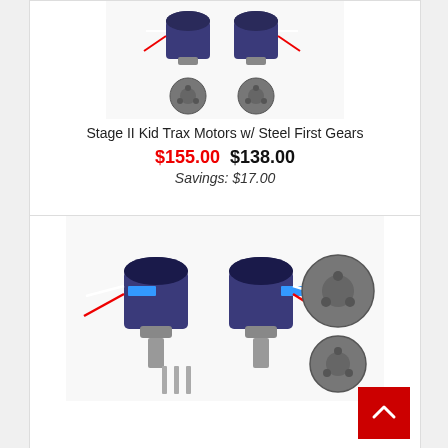[Figure (photo): Two brushless motors with red/white wires and two steel spur gears on white background]
Stage II Kid Trax Motors w/ Steel First Gears
$155.00  $138.00
Savings: $17.00
[Figure (photo): Two brushless motors with blue labels, red/white wires and metal shafts, plus two steel spur gears, on white background]